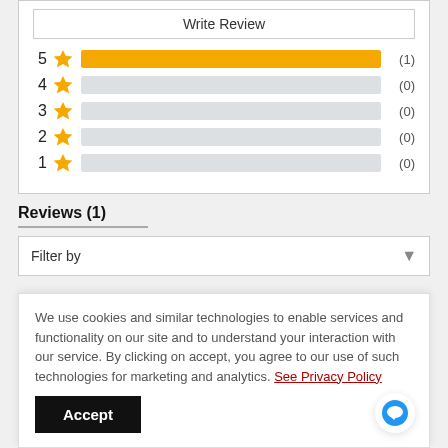[Figure (bar-chart): Star rating distribution]
Reviews (1)
Filter by
We use cookies and similar technologies to enable services and functionality on our site and to understand your interaction with our service. By clicking on accept, you agree to our use of such technologies for marketing and analytics. See Privacy Policy
Accept